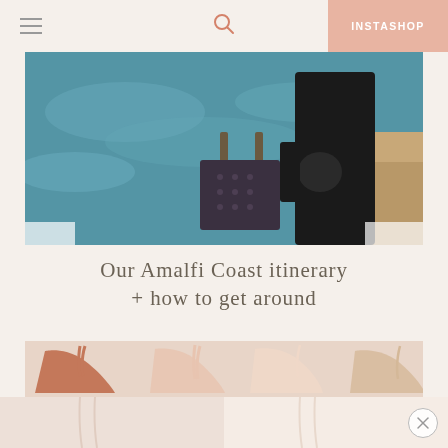INSTASHOP
[Figure (photo): Pregnant woman in black dress standing by water holding a patterned tote bag, photographed from the side]
Our Amalfi Coast itinerary + how to get around
[Figure (photo): Flat lay of several bras in nude and terracotta tones on a light background]